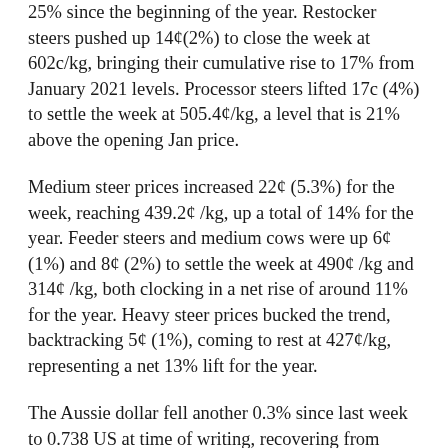25% since the beginning of the year. Restocker steers pushed up 14¢(2%) to close the week at 602c/kg, bringing their cumulative rise to 17% from January 2021 levels. Processor steers lifted 17c (4%) to settle the week at 505.4¢/kg, a level that is 21% above the opening Jan price.
Medium steer prices increased 22¢ (5.3%) for the week, reaching 439.2¢ /kg, up a total of 14% for the year. Feeder steers and medium cows were up 6¢ (1%) and 8¢ (2%) to settle the week at 490¢ /kg and 314¢ /kg, both clocking in a net rise of around 11% for the year. Heavy steer prices bucked the trend, backtracking 5¢ (1%), coming to rest at 427¢/kg, representing a net 13% lift for the year.
The Aussie dollar fell another 0.3% since last week to 0.738 US at time of writing, recovering from intraweek lows of 0.7329. The possible cause continues to be cautious “risk off” investor sentiment and worries about COVID resurgence, with the safety of reserve currencies preferred to volatile equity markets.